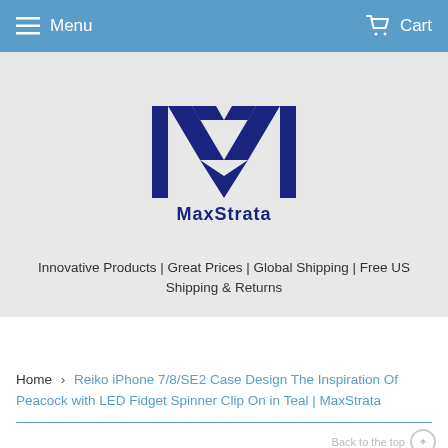Menu  Cart
[Figure (logo): MaxStrata company logo — stylized M made of dark navy blue letter forms with intersecting diagonals, with 'MaxStrata' text underneath in dark navy]
Innovative Products | Great Prices | Global Shipping | Free US Shipping & Returns
Home › Reiko iPhone 7/8/SE2 Case Design The Inspiration Of Peacock with LED Fidget Spinner Clip On in Teal | MaxStrata
[Figure (photo): Bottom edge of a teal/green patterned phone case visible at the very bottom of the page]